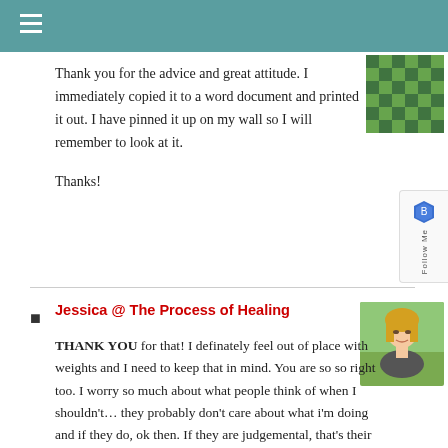≡
Thank you for the advice and great attitude. I immediately copied it to a word document and printed it out. I have pinned it up on my wall so I will remember to look at it.

Thanks!
Jessica @ The Process of Healing
THANK YOU for that! I definately feel out of place with weights and I need to keep that in mind. You are so so right too. I worry so much about what people think of when I shouldn't… they probably don't care about what i'm doing and if they do, ok then. If they are judgemental, that's their problem – not mine.